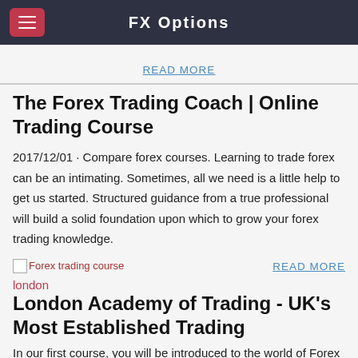FX Options
READ MORE
The Forex Trading Coach | Online Trading Course
2017/12/01 · Compare forex courses. Learning to trade forex can be an intimating. Sometimes, all we need is a little help to get us started. Structured guidance from a true professional will build a solid foundation upon which to grow your forex trading knowledge.
[Figure (illustration): Broken image placeholder with alt text 'Forex trading course london']
READ MORE
London Academy of Trading - UK's Most Established Trading
In our first course, you will be introduced to the world of Forex trading. You will learn what Forex trading is all about, why someone